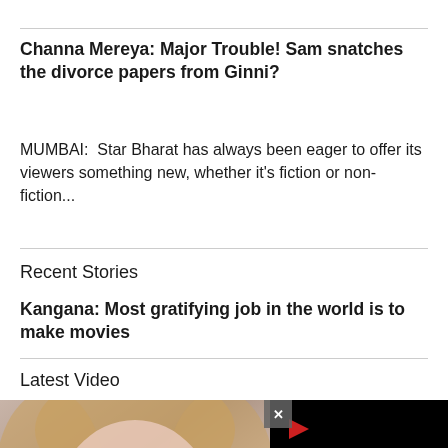Channa Mereya: Major Trouble! Sam snatches the divorce papers from Ginni?
MUMBAI:  Star Bharat has always been eager to offer its viewers something new, whether it's fiction or non-fiction...
Recent Stories
Kangana: Most gratifying job in the world is to make movies
Latest Video
[Figure (screenshot): Video player showing a close-up of a woman's face on the left panel and a black video panel with a red play button and loading spinner on the right, with an X close button overlay.]